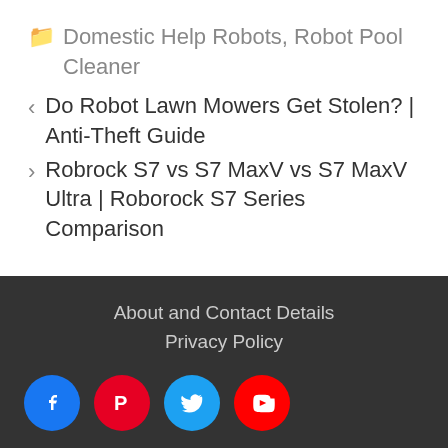Domestic Help Robots, Robot Pool Cleaner
< Do Robot Lawn Mowers Get Stolen? | Anti-Theft Guide
> Robrock S7 vs S7 MaxV vs S7 MaxV Ultra | Roborock S7 Series Comparison
About and Contact Details
Privacy Policy
[social icons: Facebook, Pinterest, Twitter, YouTube]
© 2022 Little Robot Shop · Built with GeneratePress